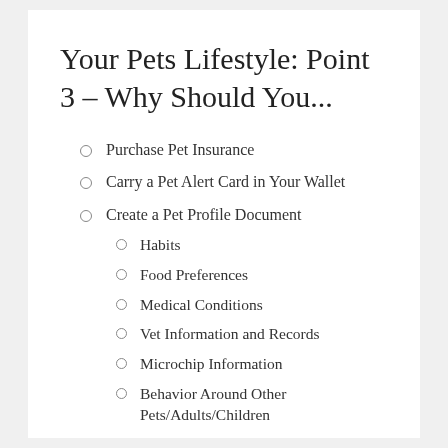Your Pets Lifestyle: Point 3 – Why Should You...
Purchase Pet Insurance
Carry a Pet Alert Card in Your Wallet
Create a Pet Profile Document
Habits
Food Preferences
Medical Conditions
Vet Information and Records
Microchip Information
Behavior Around Other Pets/Adults/Children